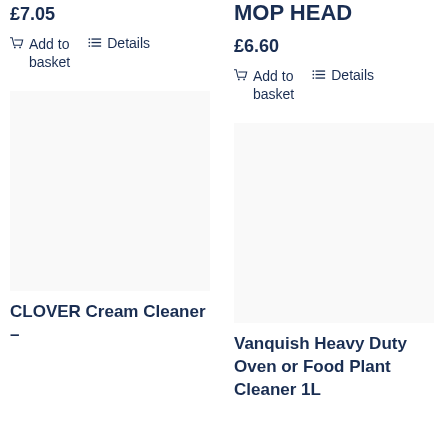£7.05
Add to basket
Details
MOP HEAD
£6.60
Add to basket
Details
[Figure (photo): Product image placeholder for CLOVER Cream Cleaner]
CLOVER Cream Cleaner –
[Figure (photo): Product image placeholder for Vanquish Heavy Duty Oven or Food Plant Cleaner 1L]
Vanquish Heavy Duty Oven or Food Plant Cleaner 1L